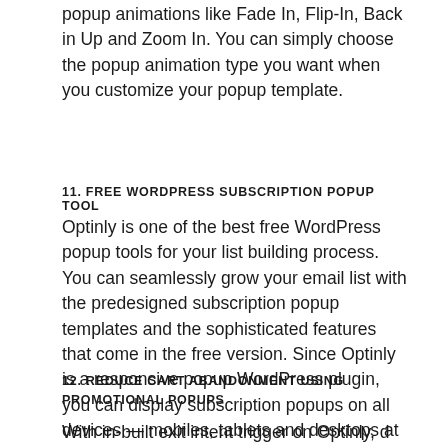popup animations like Fade In, Flip-In, Back in Up and Zoom In. You can simply choose the popup animation type you want when you customize your popup template.
11. FREE WORDPRESS SUBSCRIPTION POPUP TOOL
Optinly is one of the best free WordPress popup tools for your list building process. You can seamlessly grow your email list with the predesigned subscription popup templates and the sophisticated features that come in the free version. Since Optinly is a responsive popup WordPress plugin, you can display subscription popups on all devices — mobiles, tablets and desktops at zero cost.
12. REDUCE CART ABANDONMENT USING PROMOTIONAL POPUPS
With in-built exit intent trigger on Optinly, d...